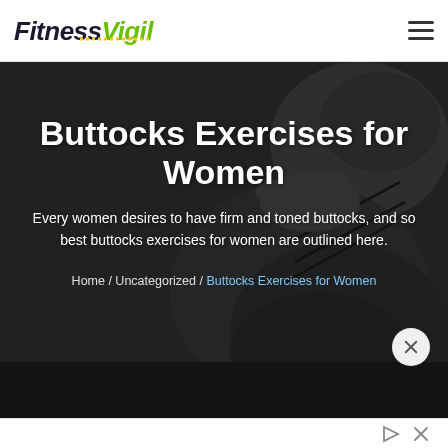FitnessVigil
Buttocks Exercises for Women
Every women desires to have firm and toned buttocks, and so best buttocks exercises for women are outlined here.
Home / Uncategorized / Buttocks Exercises for Women
[Figure (screenshot): Advertisement bar at the bottom with play and close icons]